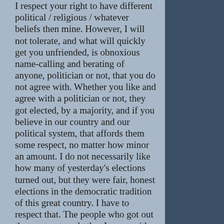I respect your right to have different political / religious / whatever beliefs then mine. However, I will not tolerate, and what will quickly get you unfriended, is obnoxious name-calling and berating of anyone, politician or not, that you do not agree with. Whether you like and agree with a politician or not, they got elected, by a majority, and if you believe in our country and our political system, that affords them some respect, no matter how minor an amount. I do not necessarily like how many of yesterday's elections turned out, but they were fair, honest elections in the democratic tradition of this great country. I have to respect that. The people who got out the most vote, whether I agree with them our not, have the right to have elected representatives who represent what they want and believe in.
It is as if people on both sides of the aisle have forgotten why we have two sides to